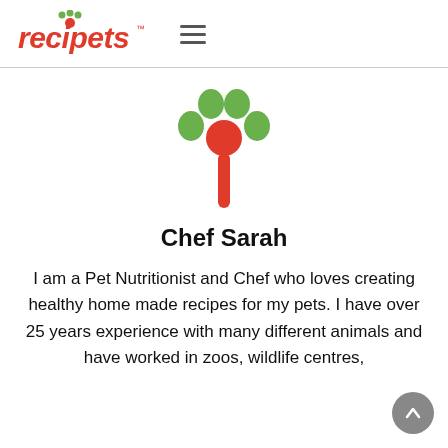recipets
[Figure (logo): Recipets logo: a paw print made of green circles with a red spoon in the center and handle below]
Chef Sarah
I am a Pet Nutritionist and Chef who loves creating healthy home made recipes for my pets. I have over 25 years experience with many different animals and have worked in zoos, wildlife centres,